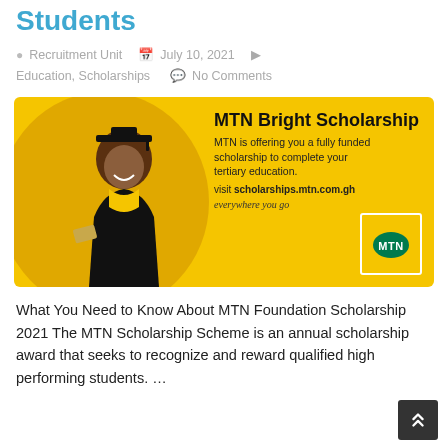Students
Recruitment Unit   July 10, 2021   Education, Scholarships   No Comments
[Figure (illustration): MTN Bright Scholarship banner. Yellow background with a smiling female graduate in cap and gown on the left side inside an oval. Right side text: 'MTN Bright Scholarship', 'MTN is offering you a fully funded scholarship to complete your tertiary education.', 'visit scholarships.mtn.com.gh', 'everywhere you go'. MTN logo in white-bordered box at bottom right.]
What You Need to Know About MTN Foundation Scholarship 2021 The MTN Scholarship Scheme is an annual scholarship award that seeks to recognize and reward qualified high performing students. …